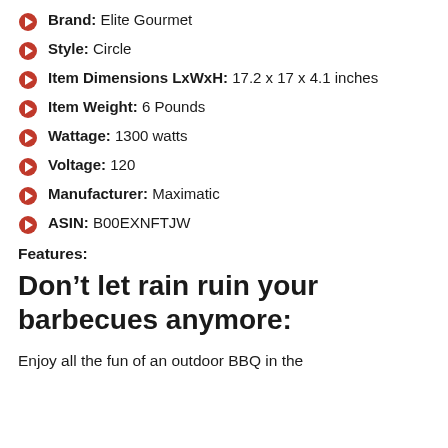Brand: Elite Gourmet
Style: Circle
Item Dimensions LxWxH: 17.2 x 17 x 4.1 inches
Item Weight: 6 Pounds
Wattage: 1300 watts
Voltage: 120
Manufacturer: Maximatic
ASIN: B00EXNFTJW
Features:
Don’t let rain ruin your barbecues anymore:
Enjoy all the fun of an outdoor BBQ in the